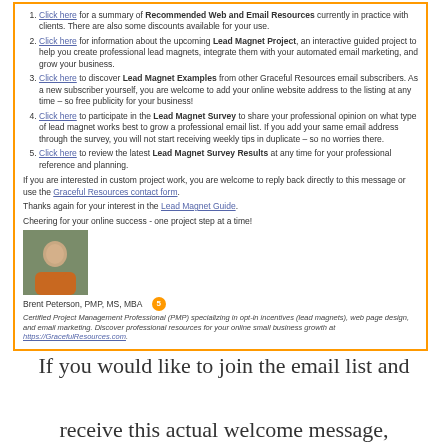Click here for a summary of Recommended Web and Email Resources currently in practice with clients. There are also some discounts available for your use.
Click here for information about the upcoming Lead Magnet Project, an interactive guided project to help you create professional lead magnets, integrate them with your automated email marketing, and grow your business.
Click here to discover Lead Magnet Examples from other Graceful Resources email subscribers. As a new subscriber yourself, you are welcome to add your online website address to the listing at any time – so free publicity for your business!
Click here to participate in the Lead Magnet Survey to share your professional opinion on what type of lead magnet works best to grow a professional email list. If you add your same email address through the survey, you will not start receiving weekly tips in duplicate – so no worries there.
Click here to review the latest Lead Magnet Survey Results at any time for your professional reference and planning.
If you are interested in custom project work, you are welcome to reply back directly to this message or use the Graceful Resources contact form.
Thanks again for your interest in the Lead Magnet Guide.
Cheering for your online success - one project step at a time!
[Figure (photo): Photo of Brent Peterson, a smiling man in an orange shirt outdoors]
Brent Peterson, PMP, MS, MBA
Certified Project Management Professional (PMP) specializing in opt-in incentives (lead magnets), web page design, and email marketing. Discover professional resources for your online small business growth at https://GracefulResources.com.
If you would like to join the email list and receive this actual welcome message,